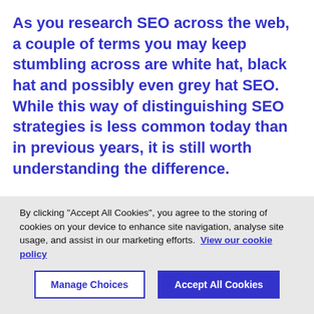As you research SEO across the web, a couple of terms you may keep stumbling across are white hat, black hat and possibly even grey hat SEO. While this way of distinguishing SEO strategies is less common today than in previous years, it is still worth understanding the difference.
Essentially White Hat SEO refers to SEO strategies that adhere to the rules set forth by
By clicking "Accept All Cookies", you agree to the storing of cookies on your device to enhance site navigation, analyse site usage, and assist in our marketing efforts.  View our cookie policy
Manage Choices
Accept All Cookies